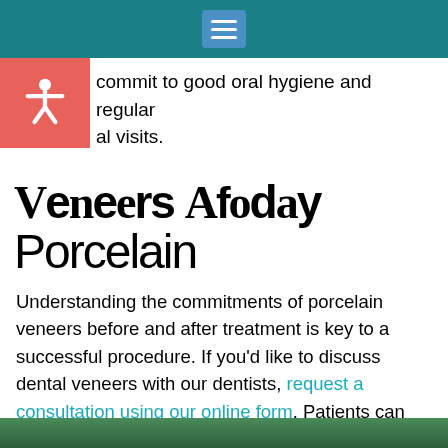Navigation menu
commit to good oral hygiene and regular al visits.
Veneers A Today Porcelain
Understanding the commitments of porcelain veneers before and after treatment is key to a successful procedure. If you'd like to discuss dental veneers with our dentists, request a consultation using our online form. Patients can also call one of our two, convenient locations. Call our Bridgewater office at 540-237-7986 or our Staunton office at 540-414-0543.